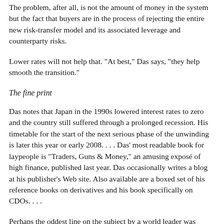The problem, after all, is not the amount of money in the system but the fact that buyers are in the process of rejecting the entire new risk-transfer model and its associated leverage and counterparty risks.
Lower rates will not help that. "At best," Das says, "they help smooth the transition."
The fine print
Das notes that Japan in the 1990s lowered interest rates to zero and the country still suffered through a prolonged recession. His timetable for the start of the next serious phase of the unwinding is later this year or early 2008. . . . Das' most readable book for laypeople is "Traders, Guns & Money," an amusing exposé of high finance, published last year. Das occasionally writes a blog at his publisher's Web site. Also available are a boxed set of his reference books on derivatives and his book specifically on CDOs. . . .
Perhaps the oddest line on the subject by a world leader was uttered by Luiz Inacio Lula da Silva, the president of Brazil.